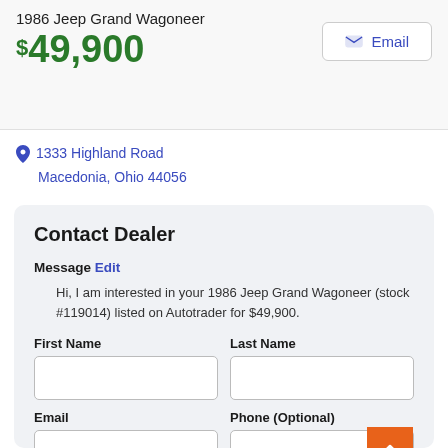1986 Jeep Grand Wagoneer
$49,900
1333 Highland Road Macedonia, Ohio 44056
Contact Dealer
Message Edit
Hi, I am interested in your 1986 Jeep Grand Wagoneer (stock #119014) listed on Autotrader for $49,900.
First Name
Last Name
Email
Phone (Optional)